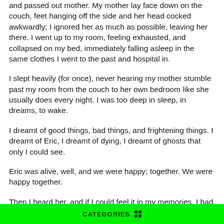and passed out mother. My mother lay face down on the couch, feet hanging off the side and her head cocked awkwardly; I ignored her as much as possible, leaving her there. I went up to my room, feeling exhausted, and collapsed on my bed, immediately falling asleep in the same clothes I went to the past and hospital in.
I slept heavily (for once), never hearing my mother stumble past my room from the couch to her own bedroom like she usually does every night. I was too deep in sleep, in dreams, to wake.
I dreamt of good things, bad things, and frightening things. I dreamt of Eric, I dreamt of dying, I dreamt of ghosts that only I could see.
Eric was alive, well, and we were happy; together. We were happy together.
Then I heard her, and if I could feel it in my memories, I had...
CATEGORIES